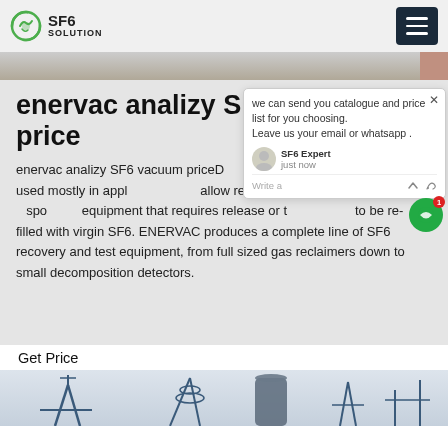SF6 SOLUTION
enervac analizy SF6 vacuum price
enervac analizy SF6 vacuum priceDue to the above reasons, SF6 is used mostly in applications that allow reclamation as opposed to using disposable equipment that requires release of the gas and to be re-filled with virgin SF6. ENERVAC produces a complete line of SF6 recovery and test equipment, from full sized gas reclaimers down to small decomposition detectors.
Get Price
[Figure (photo): Bottom strip showing SF6 equipment silhouettes including poles and cylindrical tanks]